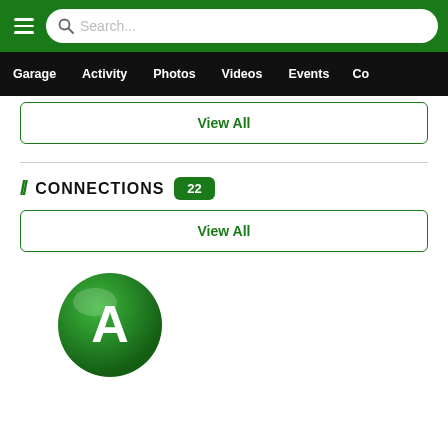Search...
Garage | Activity | Photos | Videos | Events | Co...
View All
// CONNECTIONS 22
View All
[Figure (illustration): Green circle avatar with white letter A]